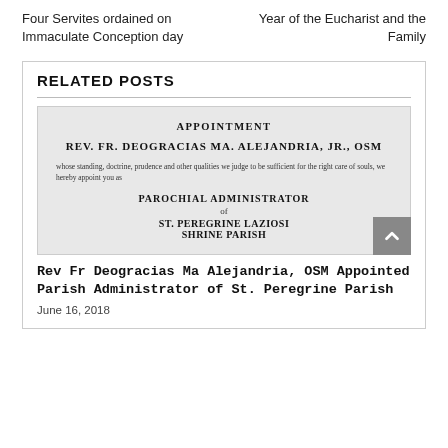Four Servites ordained on Immaculate Conception day
Year of the Eucharist and the Family
RELATED POSTS
[Figure (photo): Appointment document for Rev. Fr. Deogracias Ma. Alejandria, Jr., OSM as Parochial Administrator of St. Peregrine Laziosi Shrine Parish]
Rev Fr Deogracias Ma Alejandria, OSM Appointed Parish Administrator of St. Peregrine Parish
June 16, 2018